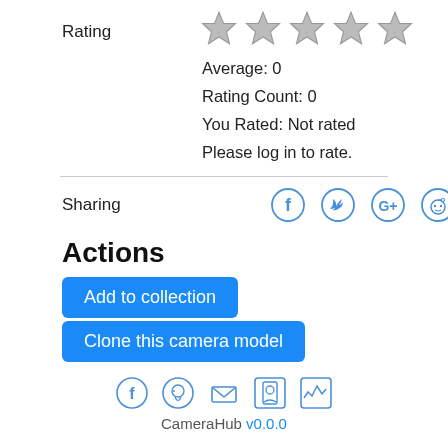Rating
[Figure (illustration): Five empty/grey star icons for rating]
Average: 0
Rating Count: 0
You Rated: Not rated
Please log in to rate.
Sharing
[Figure (illustration): Social sharing icons: Facebook, Twitter, Google+, Reddit, Email]
Actions
Add to collection
Clone this camera model
[Figure (illustration): Footer icons: Facebook, GitHub, Email, User/Profile, Activity/Chart]
CameraHub v0.0.0